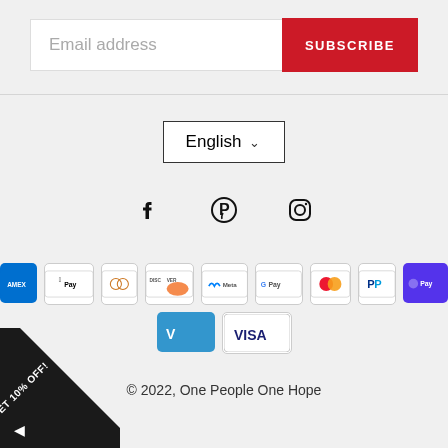[Figure (screenshot): Email address input field with Subscribe button in red]
[Figure (screenshot): English language selector dropdown]
[Figure (screenshot): Social media icons: Facebook, Pinterest, Instagram]
[Figure (screenshot): Payment method icons: Amex, Apple Pay, Diners, Discover, Meta, Google Pay, Mastercard, PayPal, Shop Pay, Venmo, Visa]
© 2022, One People One Hope
[Figure (other): Corner promo triangle with 'GET 10% OFF!' text]